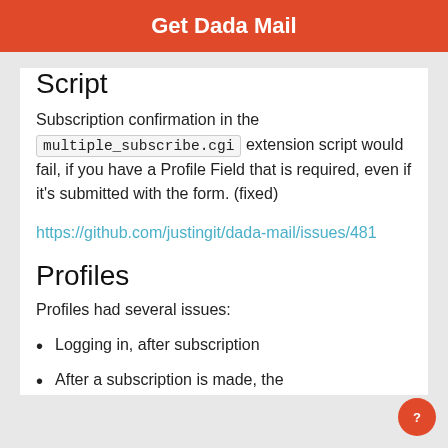Get Dada Mail
Script
Subscription confirmation in the multiple_subscribe.cgi extension script would fail, if you have a Profile Field that is required, even if it's submitted with the form. (fixed)
https://github.com/justingit/dada-mail/issues/481
Profiles
Profiles had several issues:
Logging in, after subscription
After a subscription is made, the